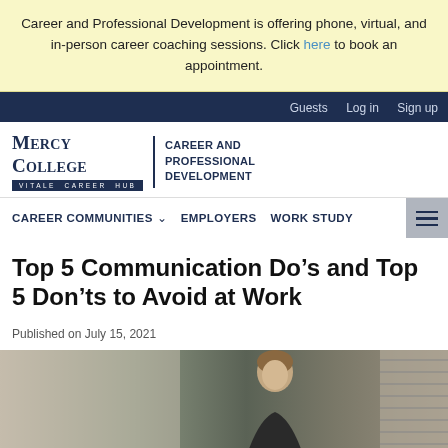Career and Professional Development is offering phone, virtual, and in-person career coaching sessions. Click here to book an appointment.
Guests  Log in  Sign up
[Figure (logo): Mercy College | Career and Professional Development — Vitale Career Hub logo]
CAREER COMMUNITIES  EMPLOYERS  WORK STUDY
Top 5 Communication Do’s and Top 5 Don’ts to Avoid at Work
Published on July 15, 2021
[Figure (photo): A person sitting at a desk in an office environment, viewed from the side, with a window and blinds in the background.]